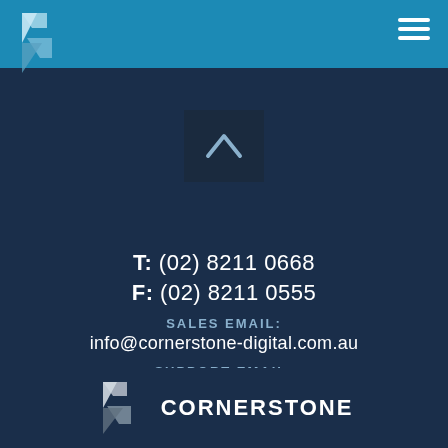[Figure (logo): Cornerstone Digital logo icon - angular geometric shape in light blue, top-left of header]
[Figure (other): Hamburger menu icon - three white horizontal lines, top-right of header]
[Figure (other): Dark square button with upward chevron/arrow symbol in center]
T: (02) 8211 0668
F: (02) 8211 0555
SALES EMAIL:
info@cornerstone-digital.com.au
SUPPORT EMAIL:
support@cornerstone-digital.com.au
[Figure (logo): Cornerstone Digital logo - geometric angular icon in grey/silver with CORNERSTONE text in white bold capitals]